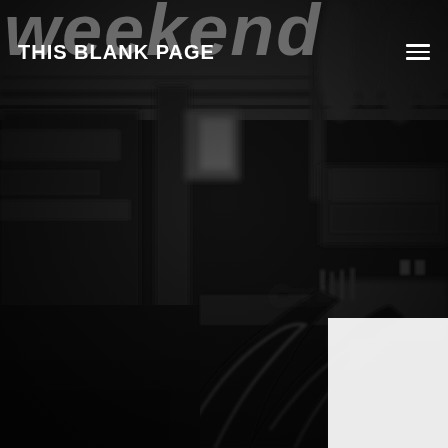[Figure (photo): Blurred black-and-white photograph of a cafe or restaurant interior with chairs and counter in foreground and industrial ceiling in background]
weekend
THIS BLANK PAGE
[Figure (other): Hamburger menu icon (three horizontal white lines) in top right corner]
[Figure (other): White rectangle in bottom right corner]